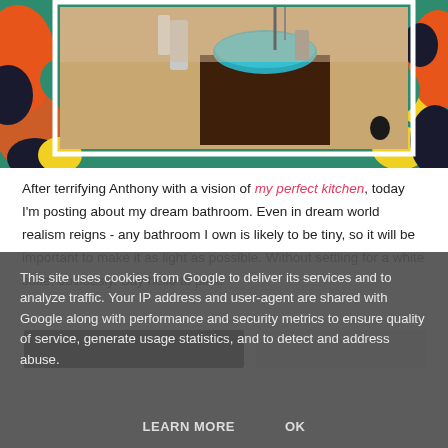[Figure (photo): A bathroom vanity scene showing a teal bowl sink on a dark wooden cabinet with various bathroom items, set against a colorful decorative background with orange, green, yellow and dark floral/abstract patterns surrounding a framed interior photo.]
After terrifying Anthony with a vision of my perfect kitchen, today I'm posting about my dream bathroom. Even in dream world realism reigns - any bathroom I own is likely to be tiny, so it will be important to make it as light as possible. Without settling for a white suite, obviously. Say hello to pink:
[Figure (photo): Partially visible bottom image strip — two image thumbnails partially visible at the bottom of the page before the cookie banner overlay.]
This site uses cookies from Google to deliver its services and to analyze traffic. Your IP address and user-agent are shared with Google along with performance and security metrics to ensure quality of service, generate usage statistics, and to detect and address abuse.
LEARN MORE   OK